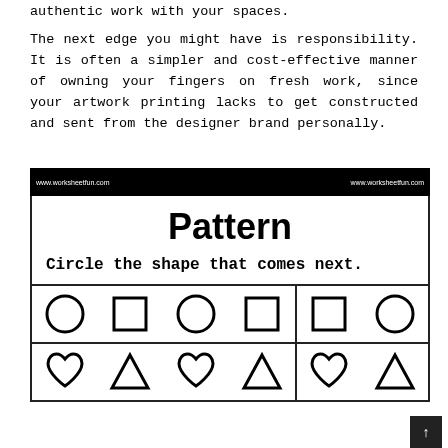authentic work with your spaces.
The next edge you might have is responsibility. It is often a simpler and cost-effective manner of owning your fingers on fresh work, since your artwork printing lacks to get constructed and sent from the designer brand personally.
[Figure (illustration): A worksheet titled 'Pattern' with subtitle 'Circle the shape that comes next.' Two rows of shapes: Row 1 shows circle, square, circle, square pattern with answer choices square and circle. Row 2 shows heart, triangle, heart, triangle pattern with answer choices heart and triangle.]